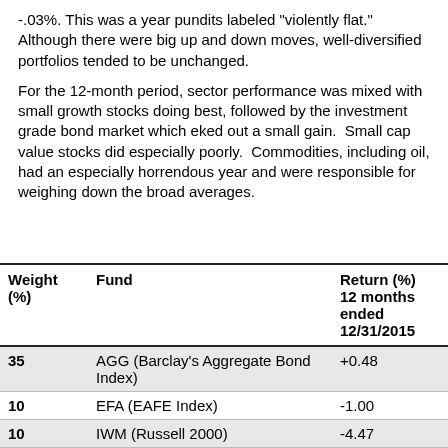-.03%. This was a year pundits labeled "violently flat." Although there were big up and down moves, well-diversified portfolios tended to be unchanged.
For the 12-month period, sector performance was mixed with small growth stocks doing best, followed by the investment grade bond market which eked out a small gain. Small cap value stocks did especially poorly. Commodities, including oil, had an especially horrendous year and were responsible for weighing down the broad averages.
| Weight (%) | Fund | Return (%) 12 months ended 12/31/2015 |
| --- | --- | --- |
| 35 | AGG (Barclay's Aggregate Bond Index) | +0.48 |
| 10 | EFA (EAFE Index) | -1.00 |
| 10 | IWM (Russell 2000) | -4.47 |